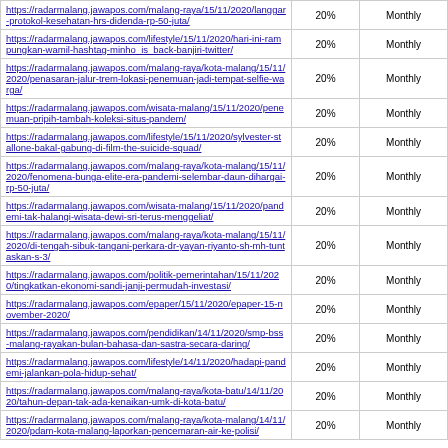| URL | Percentage | Frequency |
| --- | --- | --- |
| https://radarmalang.jawapos.com/malang-raya/15/11/2020/langgar-protokol-kesehatan-hrs-didenda-rp-50-juta/ | 20% | Monthly |
| https://radarmalang.jawapos.com/lifestyle/15/11/2020/hari-ini-rampungkan-wamil-hashtag-minho_is_back-banjiri-twitter/ | 20% | Monthly |
| https://radarmalang.jawapos.com/malang-raya/kota-malang/15/11/2020/penasaran-jalur-trem-lokasi-penemuan-jadi-tempat-selfie-warga/ | 20% | Monthly |
| https://radarmalang.jawapos.com/wisata-malang/15/11/2020/penemuan-pripih-tambah-koleksi-situs-pandem/ | 20% | Monthly |
| https://radarmalang.jawapos.com/lifestyle/15/11/2020/sylvester-stallone-bakal-gabung-di-film-the-suicide-squad/ | 20% | Monthly |
| https://radarmalang.jawapos.com/malang-raya/kota-malang/15/11/2020/fenomena-bunga-elite-era-pandemi-selembar-daun-dihargai-rp-50-juta/ | 20% | Monthly |
| https://radarmalang.jawapos.com/wisata-malang/15/11/2020/pandemi-tak-halangi-wisata-dewi-sri-terus-menggeliat/ | 20% | Monthly |
| https://radarmalang.jawapos.com/malang-raya/kota-malang/15/11/2020/di-tengah-sibuk-tangani-perkara-dr-yayan-riyanto-sh-mh-tuntaskan-s-3/ | 20% | Monthly |
| https://radarmalang.jawapos.com/politik-pemerintahan/15/11/2020/tingkatkan-ekonomi-sandi-janji-permudah-investasi/ | 20% | Monthly |
| https://radarmalang.jawapos.com/epaper/15/11/2020/epaper-15-november-2020/ | 20% | Monthly |
| https://radarmalang.jawapos.com/pendidikan/14/11/2020/smp-bss-malang-rayakan-bulan-bahasa-dan-sastra-secara-daring/ | 20% | Monthly |
| https://radarmalang.jawapos.com/lifestyle/14/11/2020/hadapi-pandemi-jalankan-pola-hidup-sehat/ | 20% | Monthly |
| https://radarmalang.jawapos.com/malang-raya/kota-batu/14/11/2020/tahun-depan-tak-ada-kenaikan-umk-di-kota-batu/ | 20% | Monthly |
| https://radarmalang.jawapos.com/malang-raya/kota-malang/14/11/2020/pdam-kota-malang-laporkan-pencemaran-air-ke-polisi/ | 20% | Monthly |